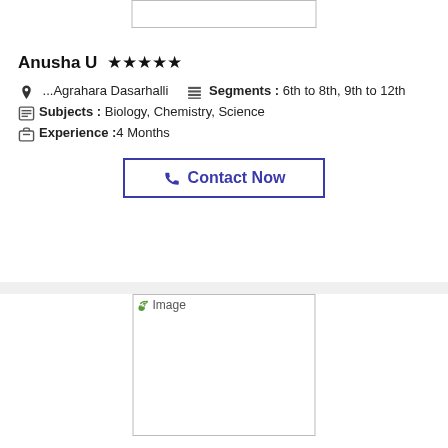[Figure (photo): Profile image placeholder box at top]
Anusha U ★★★★★
📍 ...Agrahara Dasarhalli   🗒 Segments : 6th to 8th, 9th to 12th
🗂 Subjects : Biology, Chemistry, Science
💼 Experience :4 Months
📞 Contact Now
[Figure (photo): Profile image placeholder box at bottom]